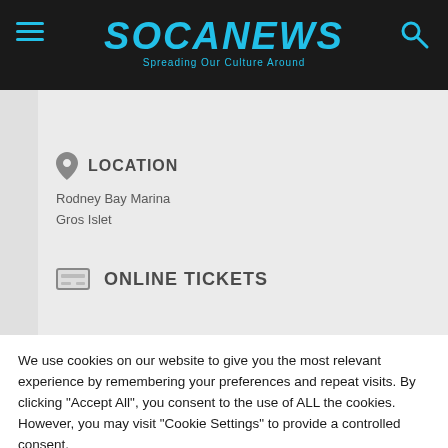SOCANEWS — Spreading Our Culture Around
LOCATION
Rodney Bay Marina
Gros Islet
ONLINE TICKETS
We use cookies on our website to give you the most relevant experience by remembering your preferences and repeat visits. By clicking "Accept All", you consent to the use of ALL the cookies. However, you may visit "Cookie Settings" to provide a controlled consent.